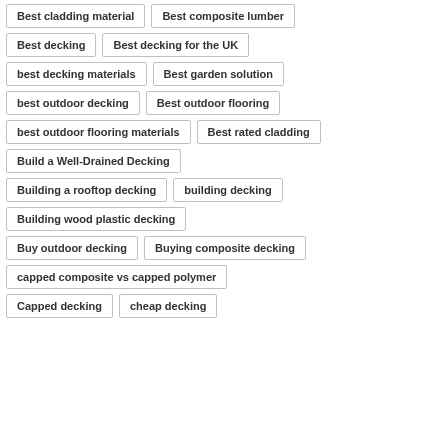Best cladding material
Best composite lumber
Best decking
Best decking for the UK
best decking materials
Best garden solution
best outdoor decking
Best outdoor flooring
best outdoor flooring materials
Best rated cladding
Build a Well-Drained Decking
Building a rooftop decking
building decking
Building wood plastic decking
Buy outdoor decking
Buying composite decking
capped composite vs capped polymer
Capped decking
cheap decking